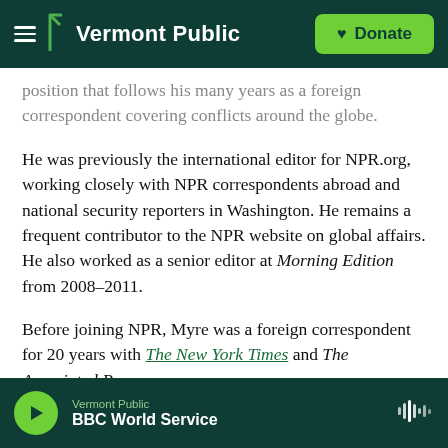Vermont Public | Donate
position that follows his many years as a foreign correspondent covering conflicts around the globe.
He was previously the international editor for NPR.org, working closely with NPR correspondents abroad and national security reporters in Washington. He remains a frequent contributor to the NPR website on global affairs. He also worked as a senior editor at Morning Edition from 2008-2011.
Before joining NPR, Myre was a foreign correspondent for 20 years with The New York Times and The Associated Press.
Vermont Public
BBC World Service